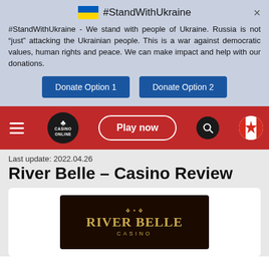[Figure (screenshot): Ukraine flag (blue and yellow horizontal stripes)]
#StandWithUkraine
#StandWithUkraine - We stand with people of Ukraine. Russia is not “just” attacking the Ukrainian people. This is a war against democratic values, human rights and peace. We can make impact and help with our donations.
Donate Option 1
Donate Option 2
[Figure (logo): Casino Online logo - black circular badge with club card symbol]
Play now
[Figure (logo): Canada flag circular icon]
Last update: 2022.04.26
River Belle – Casino Review
[Figure (logo): River Belle Casino logo on dark background]